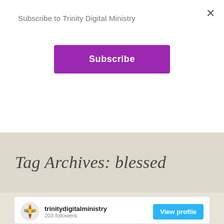×
Subscribe to Trinity Digital Ministry
Subscribe
Tag Archives: blessed
[Figure (screenshot): Instagram widget showing trinitydigitalministry profile with 203 followers, a View profile button, and a post image with the quote 'But I, through the abundance of your steadfast love, will enter your house. I']
trinitydigitalministry
203 followers
View profile
But I, through the abundance of your steadfast love, will enter your house. I